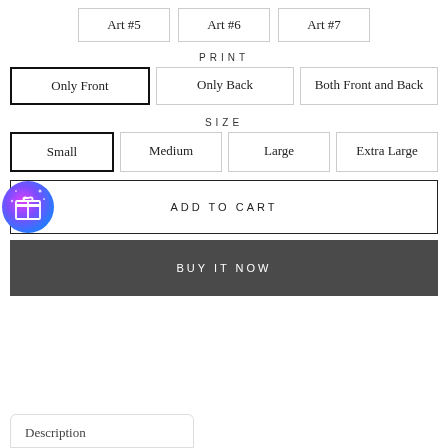Art #5
Art #6
Art #7
PRINT
Only Front
Only Back
Both Front and Back
SIZE
Small
Medium
Large
Extra Large
ADD TO CART
BUY IT NOW
Description